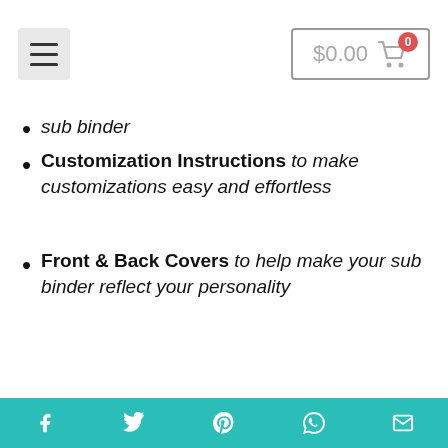$0.00 [cart icon with badge 0]
sub binder
Customization Instructions to make customizations easy and effortless
Front & Back Covers to help make your sub binder reflect your personality
Section Dividers to organize all your important pages and make them accessible at a glance
Binder Tabs & Spines to make all your pages easy to open to and
Social share icons: Facebook, Twitter, Pinterest, WhatsApp, Email